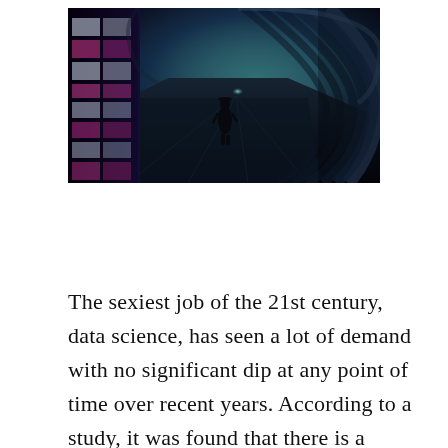[Figure (photo): A silhouetted person walking down a futuristic illuminated tunnel corridor with curved ceiling and colorful LED lights on the left wall, dark tones with blue-green and pink/purple accents.]
The sexiest job of the 21st century, data science, has seen a lot of demand with no significant dip at any point of time over recent years. According to a study, it was found that there is a requirement of 28% more data